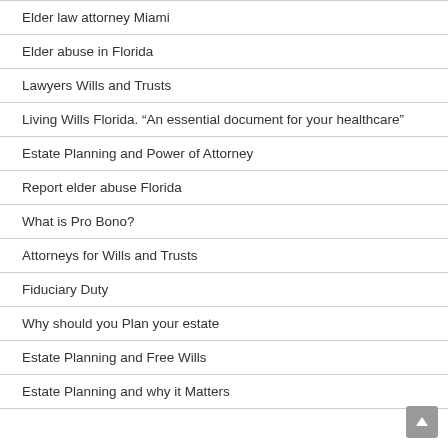Elder law attorney Miami
Elder abuse in Florida
Lawyers Wills and Trusts
Living Wills Florida. “An essential document for your healthcare”
Estate Planning and Power of Attorney
Report elder abuse Florida
What is Pro Bono?
Attorneys for Wills and Trusts
Fiduciary Duty
Why should you Plan your estate
Estate Planning and Free Wills
Estate Planning and why it Matters